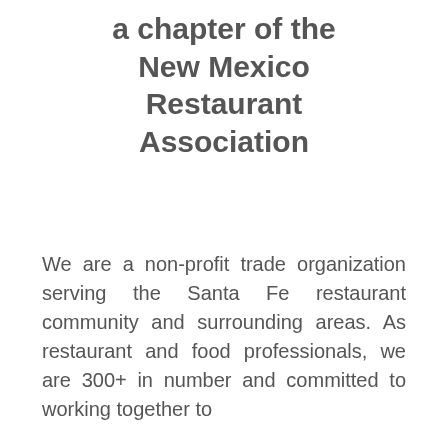a chapter of the New Mexico Restaurant Association
We are a non-profit trade organization serving the Santa Fe restaurant community and surrounding areas. As restaurant and food professionals, we are 300+ in number and committed to working together to